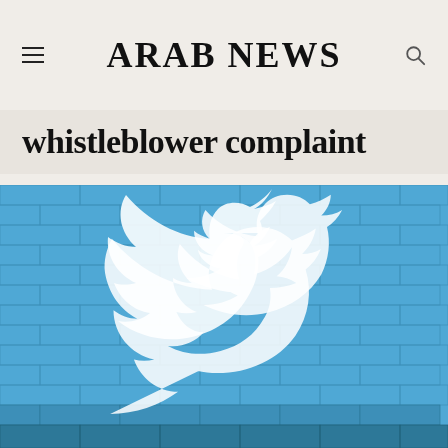ARAB NEWS
whistleblower complaint
[Figure (photo): Blue brick wall with Twitter bird logo painted in white on it, photographed from slightly below showing the full mural and lower portion of the wall.]